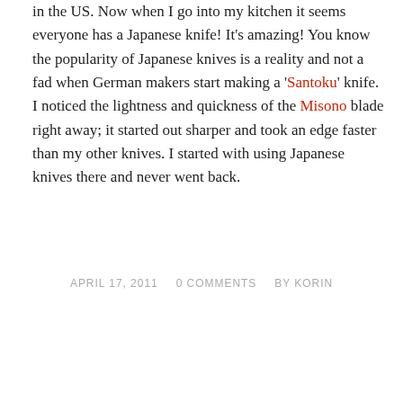in the US. Now when I go into my kitchen it seems everyone has a Japanese knife! It's amazing! You know the popularity of Japanese knives is a reality and not a fad when German makers start making a 'Santoku' knife. I noticed the lightness and quickness of the Misono blade right away; it started out sharper and took an edge faster than my other knives. I started with using Japanese knives there and never went back.
APRIL 17, 2011   0 COMMENTS   BY KORIN